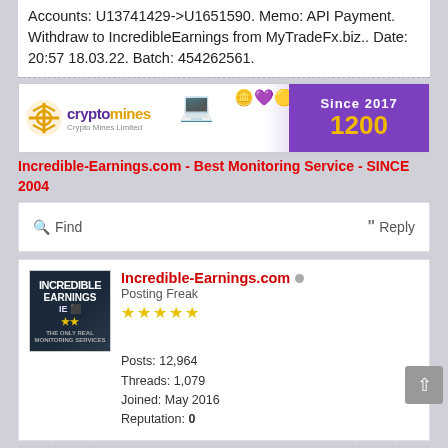Accounts: U13741429->U1651590. Memo: API Payment. Withdraw to IncredibleEarnings from MyTradeFx.biz.. Date: 20:57 18.03.22. Batch: 454262561.
[Figure (illustration): CryptoMines banner ad with logo, coins graphic, 'Since 2017' and '1200' text on purple background]
Incredible-Earnings.com - Best Monitoring Service - SINCE 2004
Find   Reply
Incredible-Earnings.com  Posting Freak  ★★★★★  Posts: 12,964  Threads: 1,079  Joined: May 2016  Reputation: 0
04-09-2022, 11:01 AM  #10
Paid!